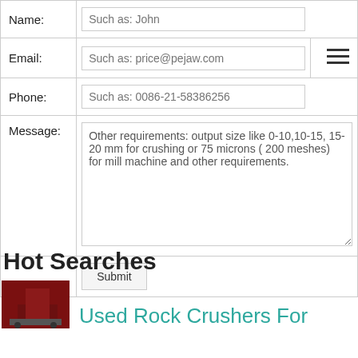| Name: | Such as: John |  |
| Email: | Such as: price@pejaw.com | ≡ |
| Phone: | Such as: 0086-21-58386256 |  |
| Message: | Other requirements: output size like 0-10,10-15, 15-20 mm for crushing or 75 microns ( 200 meshes) for mill machine and other requirements. |  |
|  | Submit |  |
Hot Searches
Used Rock Crushers For